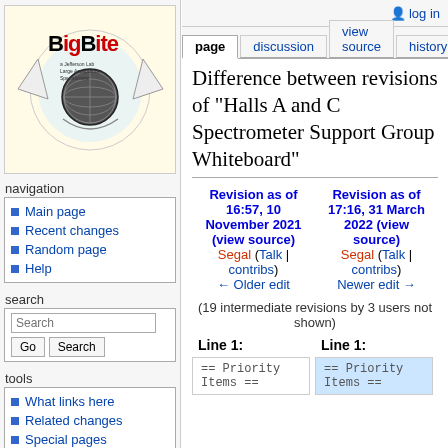log in
page | discussion | view source | history
[Figure (logo): BigBite spectrometer logo with shark and Jefferson Lab Large Acceptance Spectrometer text on yellow background]
navigation
Main page
Recent changes
Random page
Help
search
tools
What links here
Related changes
Special pages
Printable version
Permanent link
Difference between revisions of "Halls A and C Spectrometer Support Group Whiteboard"
| Left revision | Right revision |
| --- | --- |
| Revision as of 16:57, 10 November 2021 (view source) | Revision as of 17:16, 31 March 2022 (view source) |
| Segal (Talk | contribs) | Segal (Talk | contribs) |
| ← Older edit | Newer edit → |
(19 intermediate revisions by 3 users not shown)
Line 1:
Line 1:
== Priority Items ==
== Priority Items ==